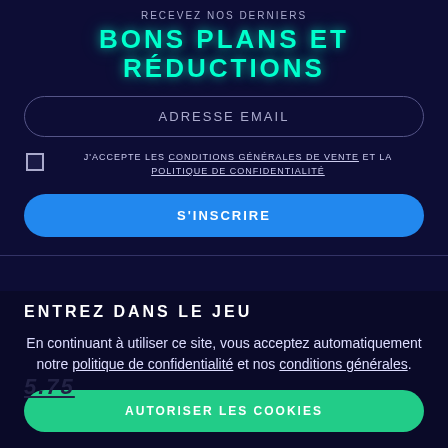RECEVEZ NOS DERNIERS
BONS PLANS ET RÉDUCTIONS
ADRESSE EMAIL
J'ACCEPTE LES CONDITIONS GÉNÉRALES DE VENTE ET LA POLITIQUE DE CONFIDENTIALITÉ
S'INSCRIRE
ENTREZ DANS LE JEU
En continuant à utiliser ce site, vous acceptez automatiquement notre politique de confidentialité et nos conditions générales.
AUTORISER LES COOKIES